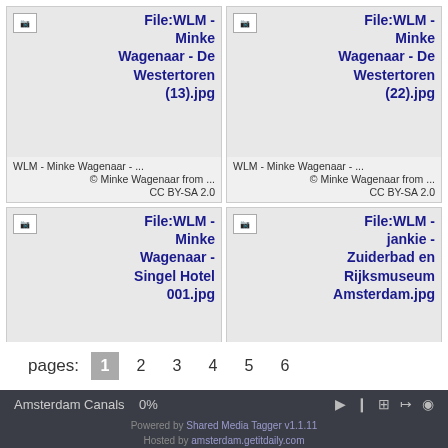[Figure (screenshot): Grid of 4 thumbnail image cards for Wikipedia/Wikimedia files. Top-left: File:WLM - Minke Wagenaar - De Westertoren (13).jpg, Top-right: File:WLM - Minke Wagenaar - De Westertoren (22).jpg, Bottom-left: File:WLM - Minke Wagenaar - Singel Hotel 001.jpg, Bottom-right: File:WLM - jankie - Zuiderbad en Rijksmuseum Amsterdam.jpg. Each card shows title, credit line, and CC BY-SA 2.0 license.]
pages: 1 2 3 4 5 6
Amsterdam Canals   0%   Powered by Shared Media Tagger v1.1.11   Hosted by amsterdam.getitdaily.com